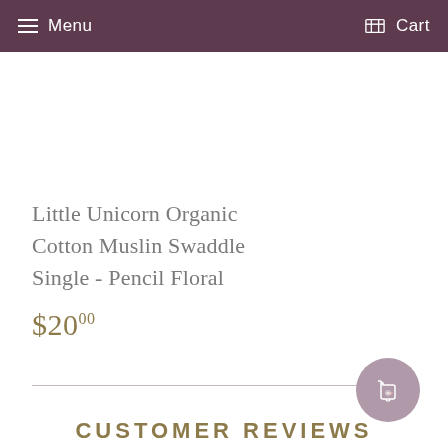Menu  Cart
Little Unicorn Organic Cotton Muslin Swaddle Single - Pencil Floral
$20.00
CUSTOMER REVIEWS